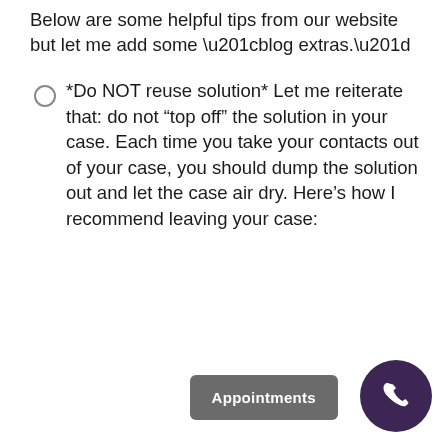Below are some helpful tips from our website but let me add some “blog extras.”
*Do NOT reuse solution* Let me reiterate that: do not “top off” the solution in your case. Each time you take your contacts out of your case, you should dump the solution out and let the case air dry. Here’s how I recommend leaving your case: